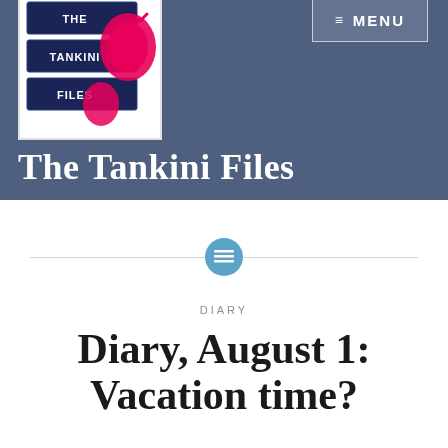[Figure (logo): The Tankini Files logo: stacked navy blue file boxes with pink swimsuit illustration and white text reading THE TANKINI FILES]
≡ MENU
The Tankini Files
[Figure (illustration): Horizontal divider line with a teal/blue circle icon in the center containing a lines/text symbol]
DIARY
Diary, August 1: Vacation time?